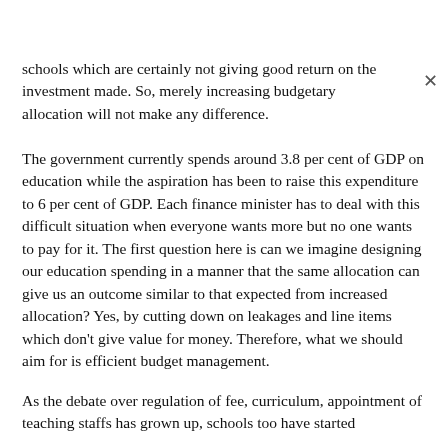schools which are certainly not giving good return on the investment made. So, merely increasing budgetary allocation will not make any difference.
The government currently spends around 3.8 per cent of GDP on education while the aspiration has been to raise this expenditure to 6 per cent of GDP. Each finance minister has to deal with this difficult situation when everyone wants more but no one wants to pay for it. The first question here is can we imagine designing our education spending in a manner that the same allocation can give us an outcome similar to that expected from increased allocation? Yes, by cutting down on leakages and line items which don't give value for money. Therefore, what we should aim for is efficient budget management.
As the debate over regulation of fee, curriculum, appointment of teaching staffs has grown up, schools too have started